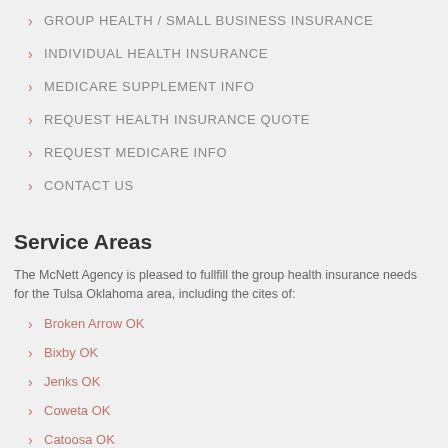GROUP HEALTH / SMALL BUSINESS INSURANCE
INDIVIDUAL HEALTH INSURANCE
MEDICARE SUPPLEMENT INFO
REQUEST HEALTH INSURANCE QUOTE
REQUEST MEDICARE INFO
CONTACT US
Service Areas
The McNett Agency is pleased to fullfill the group health insurance needs for the Tulsa Oklahoma area, including the cites of:
Broken Arrow OK
Bixby OK
Jenks OK
Coweta OK
Catoosa OK
Owasso OK